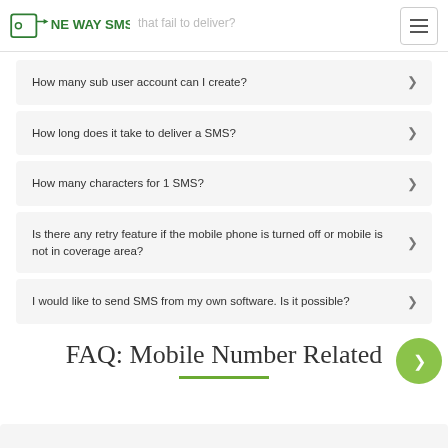ONE WAY SMS
How many sub user account can I create?
How long does it take to deliver a SMS?
How many characters for 1 SMS?
Is there any retry feature if the mobile phone is turned off or mobile is not in coverage area?
I would like to send SMS from my own software. Is it possible?
FAQ: Mobile Number Related